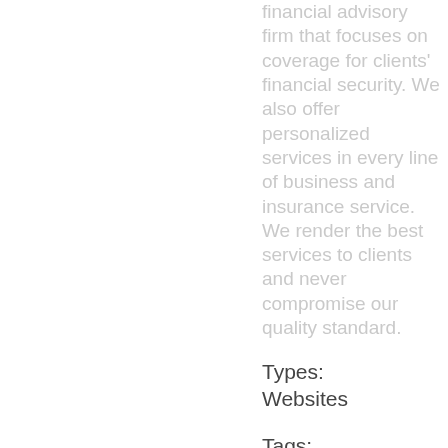financial advisory firm that focuses on coverage for clients' financial security. We also offer personalized services in every line of business and insurance service. We render the best services to clients and never compromise our quality standard.
Types:
Websites
Tags: